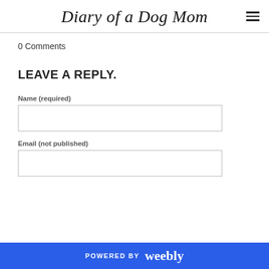Diary of a Dog Mom
0 Comments
LEAVE A REPLY.
Name (required)
Email (not published)
POWERED BY weebly